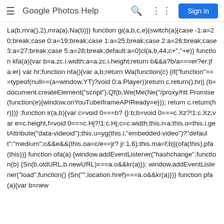Google Photos Help
La(b,mra(),2),mra(a),Na(b)}} function gi(a,b,c,e){switch(a){case -1:a=20;break;case 0:a=19;break;case 1:a=25;break;case 2:a=26;break;case 3:a=27;break;case 5:a=28;break;default:a=0}cl(a,b,44,c+","+e)} function kfa(a){var b=a.zc.i.width;a=a.zc.i.height;return b&&a?b/a===er?er:jfa:er} var hr;function nfa(){var a,b;return Wa(function(c){if("function"===typeof(null==(a=window.YT)?void 0:a.Player))return c.return();hr||(b=document.createElement("script"),Qf(b,We(Me(Ne("/proxy/htt Promise(function(e){window.onYouTubeIframeAPIReady=e}));return c.return(hr)})} ;function ir(a,b){var c=void 0===b?{}:b;b=void 0===c.Xz?!1:c.Xz;var e=c.height,f=void 0===c.Hj?!1:c.Hj;c=c.width;this.i=a;this.o=this.i.getAttribute("data-videoid");this.u=yg(this.i,"embedded-video")?"default":"medium";c&&e&&(this.oa=c/e==jr?jr:1.6);this.ma=f;b||(ofa(this),pfa(this))} function ofa(a){window.addEventListener("hashchange",function(b){Sn(b.oldURL,b.newURL)===a.o&&kr(a)});window.addEventListener("load",function(){Sn("",location.href)===a.o&&kr(a)})} function pfa(a){var b=new